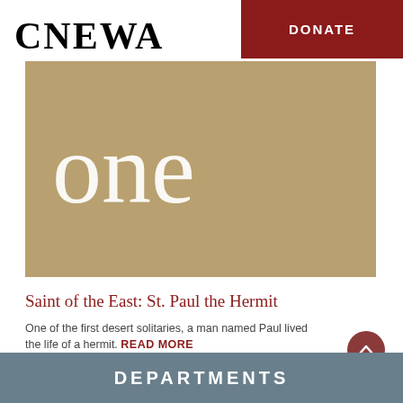[Figure (logo): CNEWA logo in bold serif font on white background]
[Figure (other): Dark red DONATE button in header top right]
[Figure (other): Tan/gold banner with large white serif word 'one']
Saint of the East: St. Paul the Hermit
One of the first desert solitaries, a man named Paul lived the life of a hermit. READ MORE
DEPARTMENTS